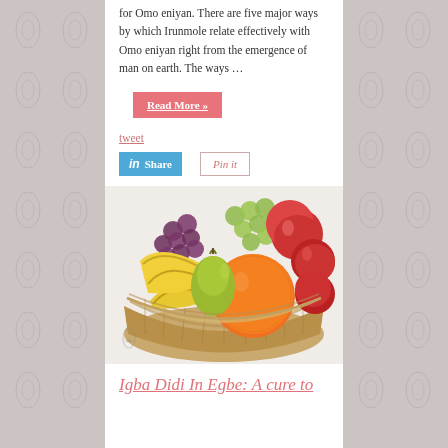for Omo eniyan. There are five major ways by which Irunmole relate effectively with Omo eniyan right from the emergence of man on earth. The ways …
Read More »
tweet
[Figure (infographic): LinkedIn Share button and Pinterest Pin it button]
[Figure (photo): A wicker basket filled with various fresh fruits including bananas, oranges, green pears, apples, and grapes on a white background.]
Igba Didi In Egbe: A cure to